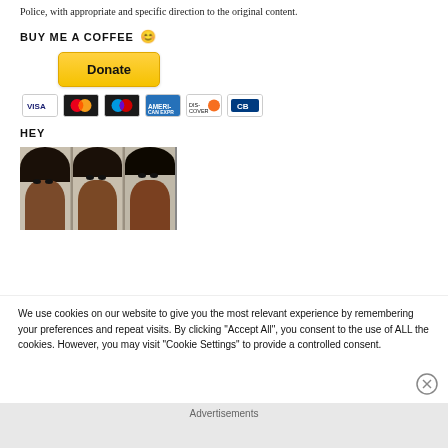Police, with appropriate and specific direction to the original content.
BUY ME A COFFEE ☺
[Figure (other): PayPal Donate button with payment card icons (Visa, Mastercard, Maestro, Amex, Discover, CB)]
HEY
[Figure (photo): Strip of three close-up face photos of a Black woman]
We use cookies on our website to give you the most relevant experience by remembering your preferences and repeat visits. By clicking "Accept All", you consent to the use of ALL the cookies. However, you may visit "Cookie Settings" to provide a controlled consent.
Advertisements